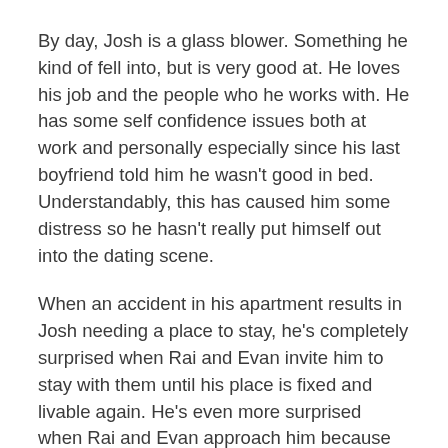By day, Josh is a glass blower. Something he kind of fell into, but is very good at. He loves his job and the people who he works with. He has some self confidence issues both at work and personally especially since his last boyfriend told him he wasn't good in bed. Understandably, this has caused him some distress so he hasn't really put himself out into the dating scene.
When an accident in his apartment results in Josh needing a place to stay, he's completely surprised when Rai and Evan invite him to stay with them until his place is fixed and livable again. He's even more surprised when Rai and Evan approach him because they are interested in him on a more personal level. Josh may be shy, but he's not stupid and he easily agrees and jumps into a menage relationship with Rai and Evan. What he didn't count on was falling in love with both men.